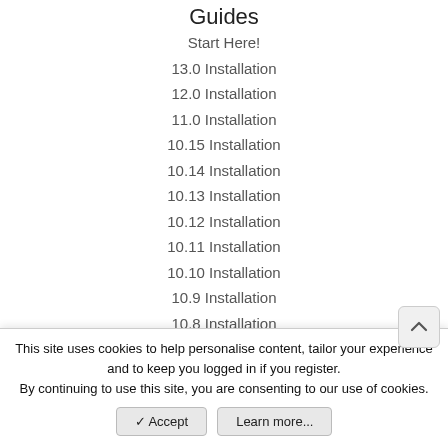Guides
Start Here!
13.0 Installation
12.0 Installation
11.0 Installation
10.15 Installation
10.14 Installation
10.13 Installation
10.12 Installation
10.11 Installation
10.10 Installation
10.9 Installation
10.8 Installation
10.7 Installation
10.6 Installation
Fix iMessage
Downloads
This site uses cookies to help personalise content, tailor your experience and to keep you logged in if you register.
By continuing to use this site, you are consenting to our use of cookies.